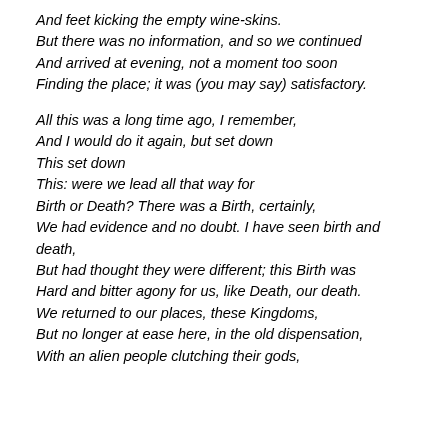And feet kicking the empty wine-skins.
But there was no information, and so we continued
And arrived at evening, not a moment too soon
Finding the place; it was (you may say) satisfactory.

All this was a long time ago, I remember,
And I would do it again, but set down
This set down
This: were we lead all that way for
Birth or Death? There was a Birth, certainly,
We had evidence and no doubt. I have seen birth and death,
But had thought they were different; this Birth was
Hard and bitter agony for us, like Death, our death.
We returned to our places, these Kingdoms,
But no longer at ease here, in the old dispensation,
With an alien people clutching their gods,